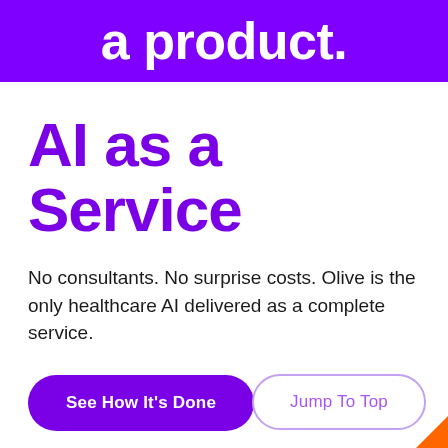a product.
AI as a Service
No consultants. No surprise costs. Olive is the only healthcare AI delivered as a complete service.
See How It's Done
Jump To Top